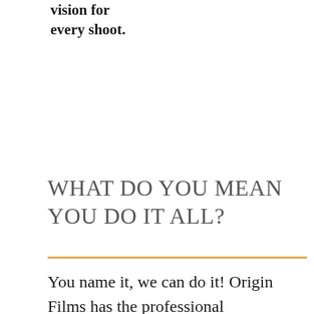vision for every shoot.
WHAT DO YOU MEAN YOU DO IT ALL?
You name it, we can do it! Origin Films has the professional